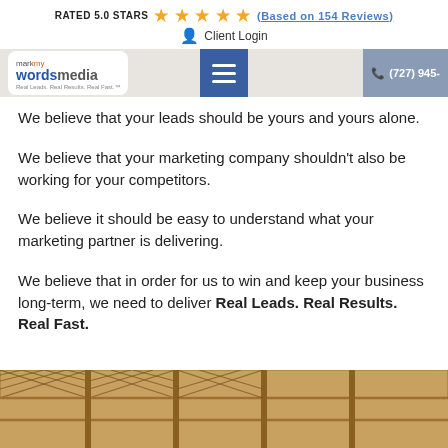RATED 5.0 STARS ★★★★★ (Based on 154 Reviews)
Client Login
mark wordsmedia | hamburger menu | (727) 945-...
We believe that your leads should be yours and yours alone.
We believe that your marketing company shouldn't also be working for your competitors.
We believe it should be easy to understand what your marketing partner is delivering.
We believe that in order for us to win and keep your business long-term, we need to deliver Real Leads. Real Results. Real Fast.
[Figure (photo): Photo of a wooden lattice-top fence panel, tan/brown wood color]